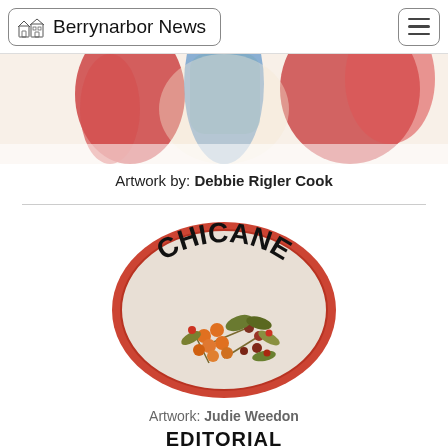Berrynarbor News
[Figure (illustration): Partial cropped illustration showing coloured artistic figures with red, blue, and warm tones]
Artwork by: Debbie Rigler Cook
[Figure (logo): Oval logo with red border and beige background, displaying the text CHICANE in bold arched lettering with autumn floral/berry illustration below]
Artwork: Judie Weedon
EDITORIAL